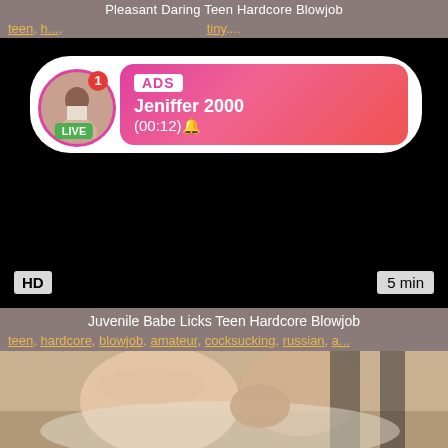Pleasant Daring Teen Hardcore Blowjob
teen, h..., tiny....
[Figure (screenshot): Video player showing black screen with HD badge bottom-left and 5 min duration bottom-right. An ad overlay shows a circular profile photo of a woman with LIVE badge, notification number 1, and a pink-to-red gradient box showing ADS, Jeniffer 2000, (00:12)]
Juvenile Babe Licks Teen Hardcore Blowjob
teen, hardcore, blowjob, amateur, cocksucking, russian, a...
[Figure (photo): Thumbnail photo showing two people on a bed, a man and a blonde woman]